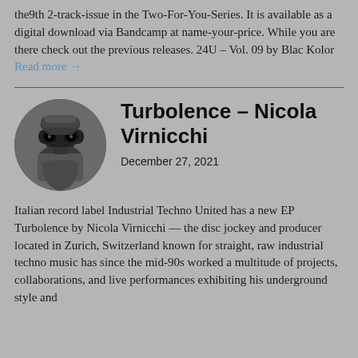the9th 2-track-issue in the Two-For-You-Series. It is available as a digital download via Bandcamp at name-your-price. While you are there check out the previous releases. 24U – Vol. 09 by Blac Kolor Read more →
Turbolence – Nicola Virnicchi
December 27, 2021
Italian record label Industrial Techno United has a new EP Turbolence by Nicola Virnicchi — the disc jockey and producer located in Zurich, Switzerland known for straight, raw industrial techno music has since the mid-90s worked a multitude of projects, collaborations, and live performances exhibiting his underground style and